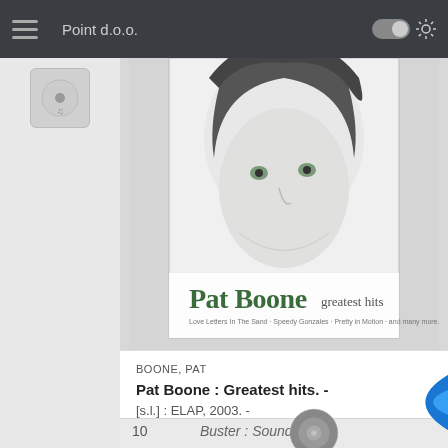Point d.o.o.
[Figure (photo): Album cover of Pat Boone Greatest Hits showing a close-up black and white face portrait with green text 'Pat Boone greatest hits' at the bottom]
BOONE, PAT
Pat Boone : Greatest hits. -
[s.l.] : ELAP, 2003. -
78 PATBOO
10
Buster : Soundtrack